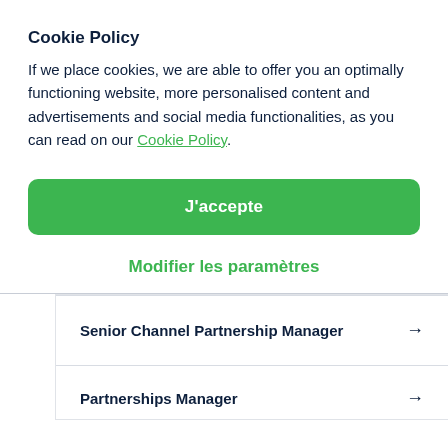Cookie Policy
If we place cookies, we are able to offer you an optimally functioning website, more personalised content and advertisements and social media functionalities, as you can read on our Cookie Policy.
J'accepte
Modifier les paramètres
Senior Channel Partnership Manager →
Partnerships Manager →